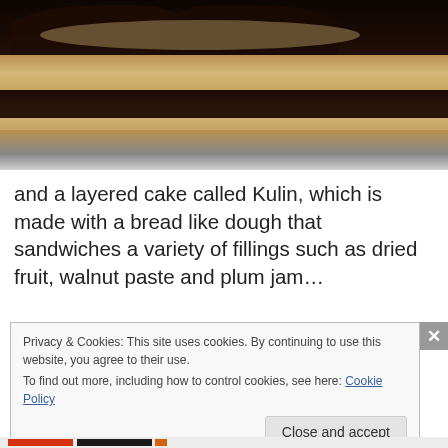[Figure (photo): Close-up photo of a sliced layered bread/cake (Kulin) on a white plate, showing dark filling layers between bread-like dough layers.]
and a layered cake called Kulin, which is made with a bread like dough that sandwiches a variety of fillings such as dried fruit, walnut paste and plum jam…
Privacy & Cookies: This site uses cookies. By continuing to use this website, you agree to their use.
To find out more, including how to control cookies, see here: Cookie Policy
[Close and accept button]